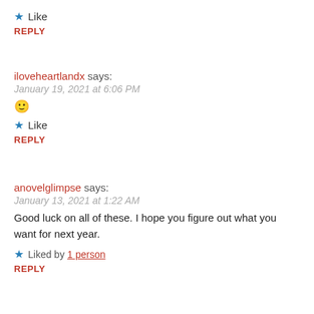★ Like
REPLY
iloveheartlandx says:
January 19, 2021 at 6:06 PM
🙂
★ Like
REPLY
anovelglimpse says:
January 13, 2021 at 1:22 AM
Good luck on all of these. I hope you figure out what you want for next year.
★ Liked by 1 person
REPLY